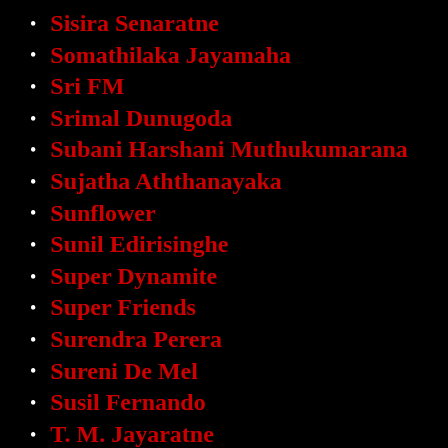Sisira Senaratne
Somathilaka Jayamaha
Sri FM
Srimal Dunugoda
Subani Harshani Muthukumarana
Sujatha Aththanayaka
Sunflower
Sunil Edirisinghe
Super Dynamite
Super Friends
Surendra Perera
Sureni De Mel
Susil Fernando
T. M. Jayaratne
Tehan Perera
Tharindu Nirmana Karunanayake